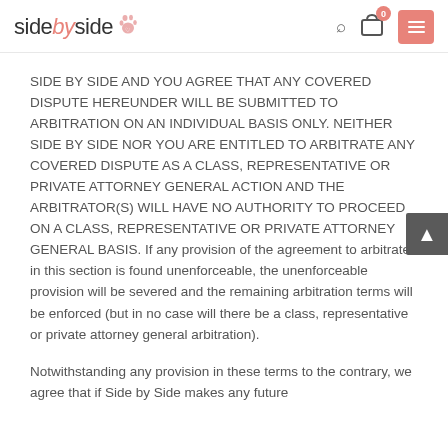sidebyside [logo with paw icon, search, cart (0), menu button]
SIDE BY SIDE AND YOU AGREE THAT ANY COVERED DISPUTE HEREUNDER WILL BE SUBMITTED TO ARBITRATION ON AN INDIVIDUAL BASIS ONLY. NEITHER SIDE BY SIDE NOR YOU ARE ENTITLED TO ARBITRATE ANY COVERED DISPUTE AS A CLASS, REPRESENTATIVE OR PRIVATE ATTORNEY GENERAL ACTION AND THE ARBITRATOR(S) WILL HAVE NO AUTHORITY TO PROCEED ON A CLASS, REPRESENTATIVE OR PRIVATE ATTORNEY GENERAL BASIS. If any provision of the agreement to arbitrate in this section is found unenforceable, the unenforceable provision will be severed and the remaining arbitration terms will be enforced (but in no case will there be a class, representative or private attorney general arbitration).
Notwithstanding any provision in these terms to the contrary, we agree that if Side by Side makes any future